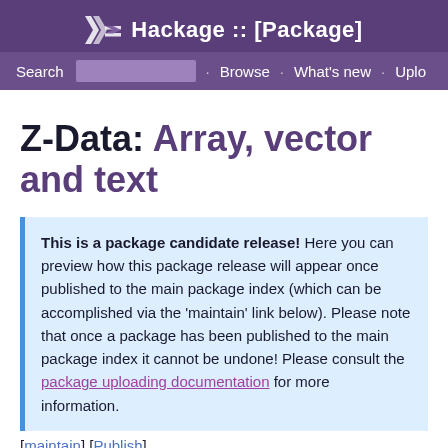Hackage :: [Package]
Z-Data: Array, vector and text
This is a package candidate release! Here you can preview how this package release will appear once published to the main package index (which can be accomplished via the 'maintain' link below). Please note that once a package has been published to the main package index it cannot be undone! Please consult the package uploading documentation for more information.
[maintain] [Publish]